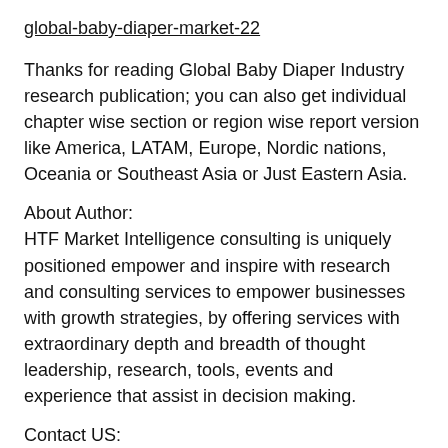global-baby-diaper-market-22
Thanks for reading Global Baby Diaper Industry research publication; you can also get individual chapter wise section or region wise report version like America, LATAM, Europe, Nordic nations, Oceania or Southeast Asia or Just Eastern Asia.
About Author:
HTF Market Intelligence consulting is uniquely positioned empower and inspire with research and consulting services to empower businesses with growth strategies, by offering services with extraordinary depth and breadth of thought leadership, research, tools, events and experience that assist in decision making.
Contact US:
Craig Francis (PR & Marketing Manager)
HTF Market Intelligence Consulting Private Limited